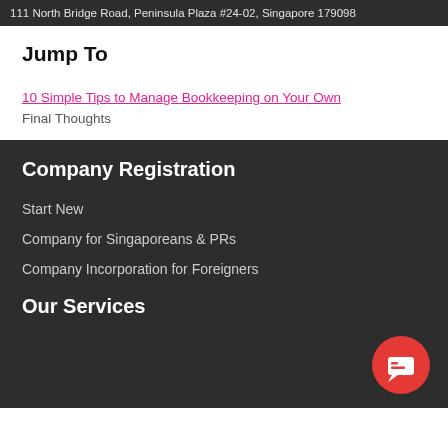111 North Bridge Road, Peninsula Plaza #24-02, Singapore 179098
Jump To
10 Simple Tips to Manage Bookkeeping on Your Own
Final Thoughts
Company Registration
Start New
Company for Singaporeans & PRs
Company Incorporation for Foreigners
Our Services
[Figure (illustration): Red circular chat/message button icon in bottom right corner]